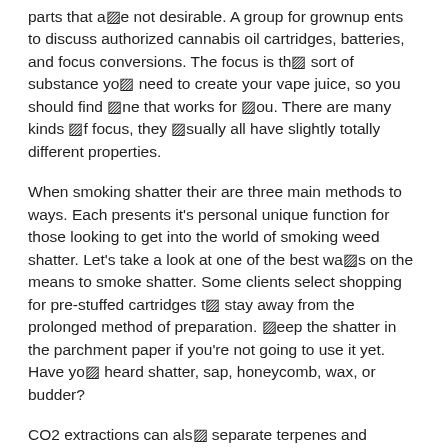parts that are not desirable. A group for grownup ents to discuss authorized cannabis oil cartridges, batteries, and focus conversions. The focus is the sort of substance you need to create your vape juice, so you should find one that works for you. There are many kinds of focus, they usually all have slightly totally different properties.
When smoking shatter their are three main methods to ways. Each presents it's personal unique function for those looking to get into the world of smoking weed shatter. Let's take a look at one of the best ways on the means to smoke shatter. Some clients select shopping for pre-stuffed cartridges to stay away from the prolonged method of preparation. Keep the shatter in the parchment paper if you're not going to use it yet. Have you heard shatter, sap, honeycomb, wax, or budder?
CO2 extractions can also separate terpenes and different important compounds in hashish. BHO stands for Butane Hash Oil or typically known as Butane Honey Oil. BHO is a resin that's extracted from the cannabis plant with butane